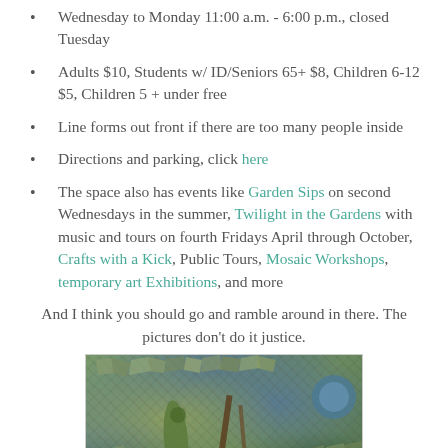Wednesday to Monday 11:00 a.m. - 6:00 p.m., closed Tuesday
Adults $10, Students w/ ID/Seniors 65+ $8, Children 6-12 $5, Children 5 + under free
Line forms out front if there are too many people inside
Directions and parking, click here
The space also has events like Garden Sips on second Wednesdays in the summer, Twilight in the Gardens with music and tours on fourth Fridays April through October, Crafts with a Kick, Public Tours, Mosaic Workshops, temporary art Exhibitions, and more
And I think you should go and ramble around in there. The pictures don't do it justice.
[Figure (photo): A mosaic artwork photo showing a decorative mosaic with green and blue glass elements, with natural and artistic objects in the foreground.]